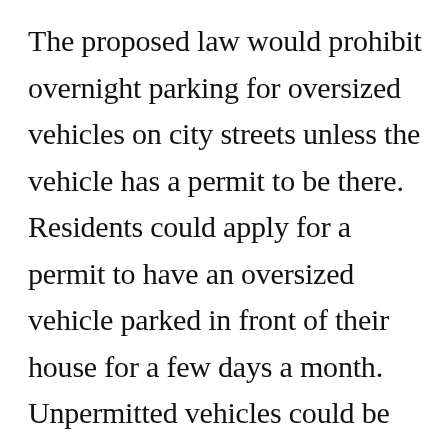The proposed law would prohibit overnight parking for oversized vehicles on city streets unless the vehicle has a permit to be there. Residents could apply for a permit to have an oversized vehicle parked in front of their house for a few days a month. Unpermitted vehicles could be subject to fines and